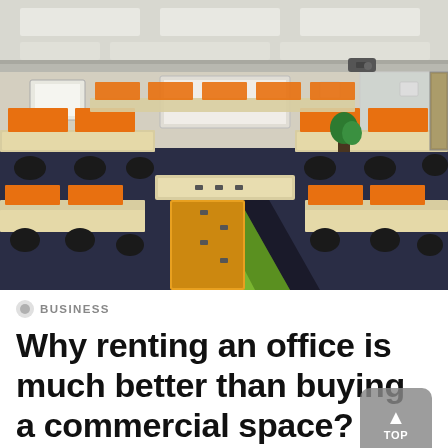[Figure (photo): Interior of a modern open-plan office with orange workstation dividers, black office chairs, light-wood desks arranged in rows, dark navy carpet with green and black stripe accents, and a suspended ceiling with fluorescent lighting panels.]
BUSINESS
Why renting an office is much better than buying a commercial space?